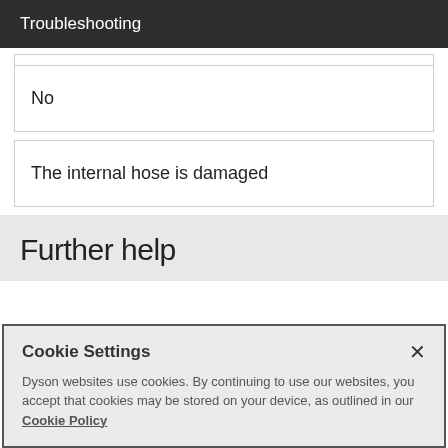Troubleshooting
|  |
| No |
| The internal hose is damaged |
Further help
Cookie Settings ×
Dyson websites use cookies. By continuing to use our websites, you accept that cookies may be stored on your device, as outlined in our Cookie Policy